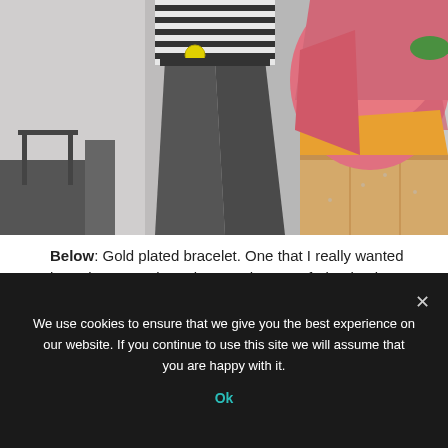[Figure (photo): Person in striped shirt and dark jeans standing next to a colorful abstract sculpture (pink and orange/yellow) on a wooden crate in a gallery-like space with white brick walls.]
Below: Gold plated bracelet. One that I really wanted but I don't wear bracelets much, so I refrained. It is made by Tweek-Eek (Twin sisters Eek).
We use cookies to ensure that we give you the best experience on our website. If you continue to use this site we will assume that you are happy with it.
Ok